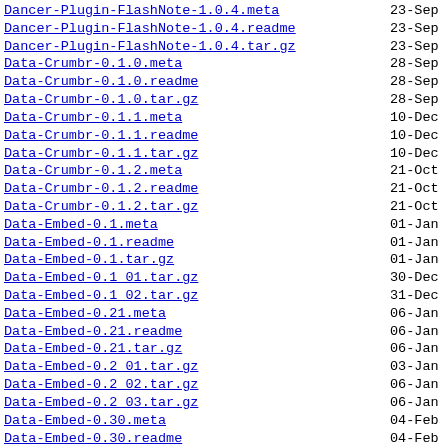Dancer-Plugin-FlashNote-1.0.4.meta   23-Sep
Dancer-Plugin-FlashNote-1.0.4.readme   23-Sep
Dancer-Plugin-FlashNote-1.0.4.tar.gz   23-Sep
Data-Crumbr-0.1.0.meta   28-Sep
Data-Crumbr-0.1.0.readme   28-Sep
Data-Crumbr-0.1.0.tar.gz   28-Sep
Data-Crumbr-0.1.1.meta   10-Dec
Data-Crumbr-0.1.1.readme   10-Dec
Data-Crumbr-0.1.1.tar.gz   10-Dec
Data-Crumbr-0.1.2.meta   21-Oct
Data-Crumbr-0.1.2.readme   21-Oct
Data-Crumbr-0.1.2.tar.gz   21-Oct
Data-Embed-0.1.meta   01-Jan
Data-Embed-0.1.readme   01-Jan
Data-Embed-0.1.tar.gz   01-Jan
Data-Embed-0.1 01.tar.gz   30-Dec
Data-Embed-0.1 02.tar.gz   31-Dec
Data-Embed-0.21.meta   06-Jan
Data-Embed-0.21.readme   06-Jan
Data-Embed-0.21.tar.gz   06-Jan
Data-Embed-0.2 01.tar.gz   03-Jan
Data-Embed-0.2 02.tar.gz   06-Jan
Data-Embed-0.2 03.tar.gz   06-Jan
Data-Embed-0.30.meta   04-Feb
Data-Embed-0.30.readme   04-Feb
Data-Embed-0.30.tar.gz   04-Feb
Data-Embed-0.31.meta   05-Feb
Data-Embed-0.31.readme   05-Feb
Data-Embed-0.31.tar.gz   05-Feb
Data-Embed-0.31 1.tar.gz   06-Feb